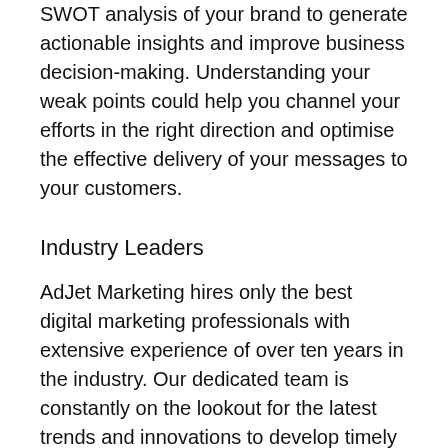SWOT analysis of your brand to generate actionable insights and improve business decision-making. Understanding your weak points could help you channel your efforts in the right direction and optimise the effective delivery of your messages to your customers.
Industry Leaders
AdJet Marketing hires only the best digital marketing professionals with extensive experience of over ten years in the industry. Our dedicated team is constantly on the lookout for the latest trends and innovations to develop timely strategies to increase your company's visibility and presence in the market. Our expertise in SEO enables us to ensure that your growth rate results speak for themselves.